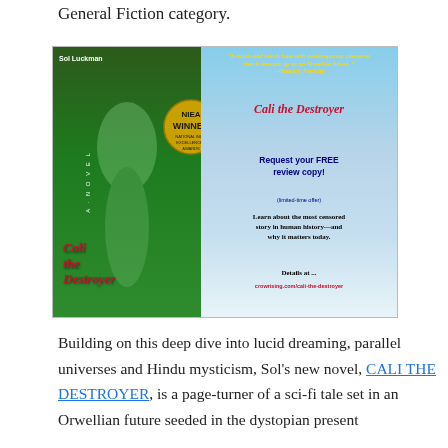General Fiction category.
[Figure (illustration): Advertisement for 'Cali the Destroyer' novel by Sol Luckman. Left side shows the book cover with a woman on green foliage. Right side shows NIEA Winner badge, title 'Cali the Destroyer', offer to request free review copy, and website URL crowrising.com/cali-the-destroyer. Yellow italic quote at top reads: 'A must-read tale in tune with contemporary concerns that it dresses up as an Orwellian future.' —Readers' Favorite]
Building on this deep dive into lucid dreaming, parallel universes and Hindu mysticism, Sol's new novel, CALI THE DESTROYER, is a page-turner of a sci-fi tale set in an Orwellian future seeded in the dystopian present